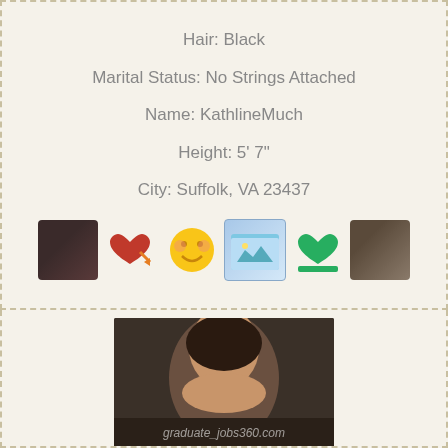Hair: Black
Marital Status: No Strings Attached
Name: KathlineMuch
Height: 5' 7"
City: Suffolk, VA 23437
[Figure (photo): Row of small thumbnail images: a photo of a woman, a red heart with arrow emoji, a smiley face emoji, a folder/image thumbnail, a green heart emoji, and another photo of a woman]
[Figure (photo): Cropped photo of a woman's face from below, with watermark text 'graduate_jobs360.com']